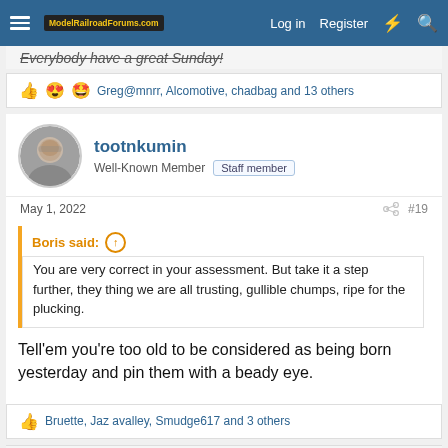ModelRailroadForums.com | Log in | Register
Everybody have a great Sunday!
👍😍🤩 Greg@mnrr, Alcomotive, chadbag and 13 others
tootnkumin
Well-Known Member | Staff member
May 1, 2022 #19
Boris said:
You are very correct in your assessment. But take it a step further, they thing we are all trusting, gullible chumps, ripe for the plucking.
Tell'em you're too old to be considered as being born yesterday and pin them with a beady eye.
👍 Bruette, Jaz avalley, Smudge617 and 3 others
bnsf971